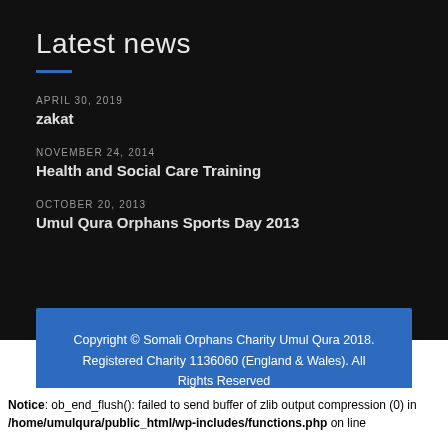Latest news
APRIL 30, 2019
zakat
NOVEMBER 24, 2014
Health and Social Care Training
OCTOBER 20, 2013
Umul Qura Orphans Sports Day 2013
Copyright © Somali Orphans Charity Umul Qura 2018. Registered Charity 1136060 (England & Wales). All Rights Reserved
Notice: ob_end_flush(): failed to send buffer of zlib output compression (0) in /home/umulqura/public_html/wp-includes/functions.php on line